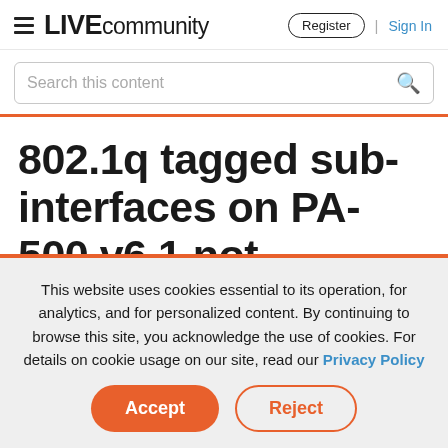LIVE community | Register | Sign In
Search this content
802.1q tagged sub-interfaces on PA-500 v6.1 not working
This website uses cookies essential to its operation, for analytics, and for personalized content. By continuing to browse this site, you acknowledge the use of cookies. For details on cookie usage on our site, read our Privacy Policy
Accept | Reject